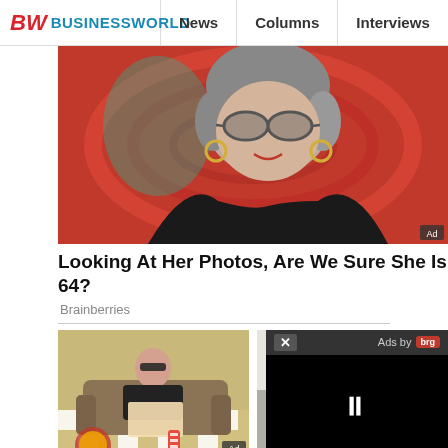BW BUSINESSWORLD | News | Columns | Interviews | BW
[Figure (photo): Photo of a woman with gray hair wearing sunglasses and hoop earrings against a red swirl background. Ad badge visible.]
Looking At Her Photos, Are We Sure She Is 64?
Brainberries
[Figure (photo): Woman sitting on sofa holding pizza box with pizza on floor, wearing striped socks. Ad badge visible.]
How To Lose Weight & Burn Fat While You Sleep
[Figure (photo): Office/workspace scene partially visible.]
Focus B... Recruit... Candida...
[Figure (screenshot): Video player overlay showing Ads by brg logo, close button (X), and pause icon (II).]